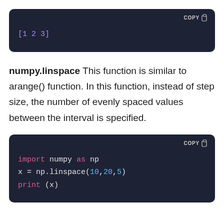[Figure (screenshot): Dark code block showing output: [1 2 3] in purple monospace font with COPY button]
numpy.linspace This function is similar to arange() function. In this function, instead of step size, the number of evenly spaced values between the interval is specified.
[Figure (screenshot): Dark code block with Python code: import numpy as np, x = np.linspace(10,20,5), print (x) with syntax highlighting and COPY button]